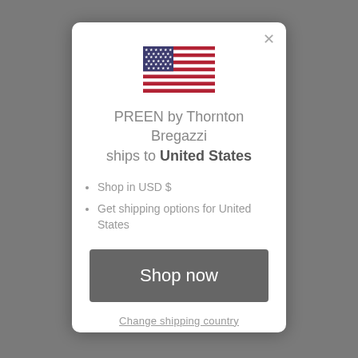[Figure (screenshot): A modal dialog popup on a website. The modal shows a US flag SVG, text about PREEN by Thornton Bregazzi shipping to United States, bullet points about shopping in USD and getting shipping options, a 'Shop now' button, and a 'Change shipping country' link.]
PREEN by Thornton Bregazzi ships to United States
Shop in USD $
Get shipping options for United States
Shop now
Change shipping country